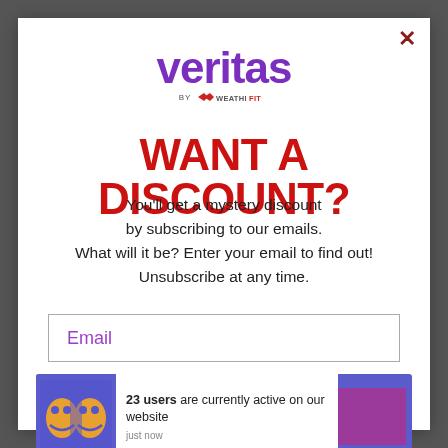[Figure (logo): Veritas by WeatherfordFit logo — 'veritas' in large purple bold text, 'BY WEATHERFORDFIT' in small text with a wing-like icon]
WANT A DISCOUNT?
You'll get a mystery discount by subscribing to our emails. What will it be? Enter your email to find out! Unsubscribe at any time.
Email
[Figure (infographic): Notification bar with blue background icon showing two abstract faces, white section with text '23 users are currently active on our website — just now', and a purple square on the right]